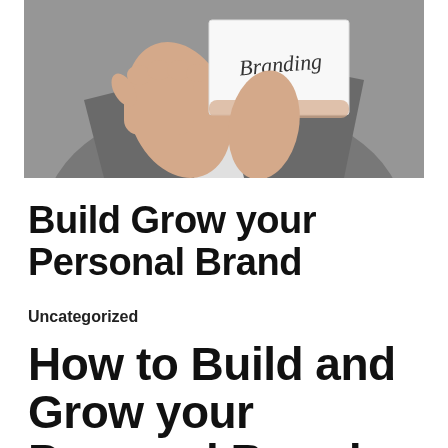[Figure (photo): Person in grey suit jacket holding a white card/note with the word 'Branding' written on it in handwriting, shown from neck down]
Build Grow your Personal Brand
Uncategorized
How to Build and Grow your Personal Brand